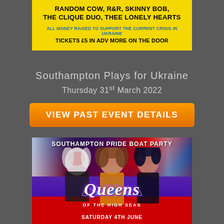[Figure (infographic): Yellow event flyer showing band names: RANDOM COW, R&R, SKINNY BOB, THE CLIQUE DUO, THEE LONELY HEARTS. Text: ALL MONEY RAISED TO SUPPORT THE CURRENT CRISIS IN UKRAINE. TICKETS £5 IN ADV MORE ON THE DOOR.]
Southampton Plays for Ukraine
Thursday 31st March 2022
VIEW PAST EVENT DETAILS
[Figure (photo): Southampton Pride Boat Party poster featuring three drag queens in front of British Union Jack flags. Text reads: SOUTHAMPTON PRIDE BOAT PARTY. Decorative Queens OF THE HIGH SEAS text with jeweled crown motif. SATURDAY 4TH JUNE text at bottom.]